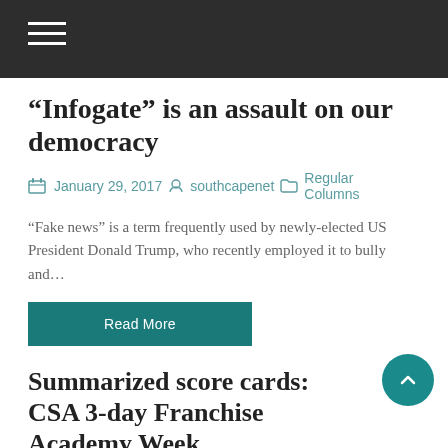“Infogate” is an assault on our democracy
January 29, 2017  southcapenet  Regular Columns
“Fake news” is a term frequently used by newly-elected US President Donald Trump, who recently employed it to bully and…
Read More
Summarized score cards: CSA 3-day Franchise Academy Week
January 29, 2017  southcapenet  Garden